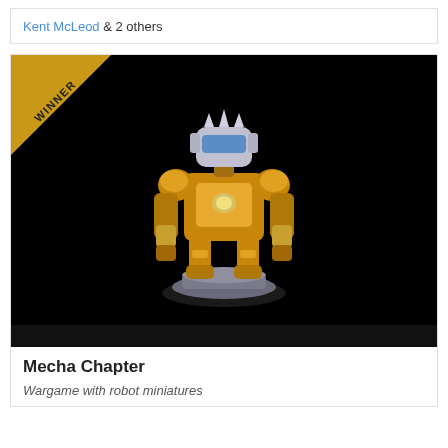Kent McLeod & 2 others
[Figure (photo): A golden and silver mecha/robot miniature figurine on a metallic base, shown against a black background with a WINNER ribbon banner in the top-left corner.]
Mecha Chapter
Wargame with robot miniatures